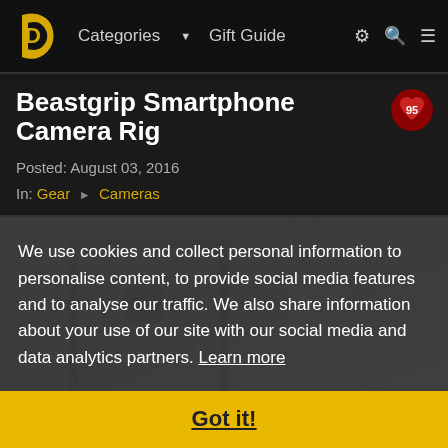Categories ▼  Gift Guide
Beastgrip Smartphone Camera Rig
Posted: August 03, 2016
In: Gear → Cameras
[Figure (screenshot): Beastgrip smartphone camera rig product photo, dark background]
We use cookies and collect personal information to personalise content, to provide social media features and to analyse our traffic. We also share information about your use of our site with our social media and data analytics partners. Learn more
Got it!